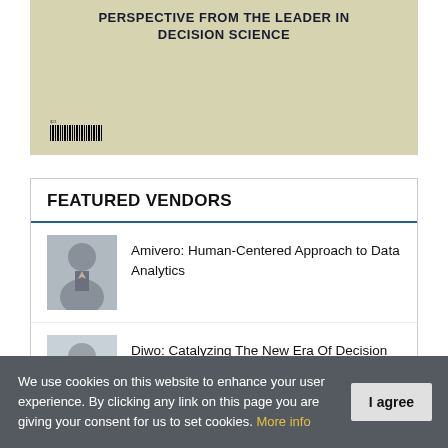[Figure (photo): Book cover with title: PERSPECTIVE FROM THE LEADER IN DECISION SCIENCE with barcode]
FEATURED VENDORS
Amivero: Human-Centered Approach to Data Analytics
Diwo: Catalyzing The New Era Of Decision Intelligence
Synectics: Making Data Meaningful
We use cookies on this website to enhance your user experience. By clicking any link on this page you are giving your consent for us to set cookies. More info